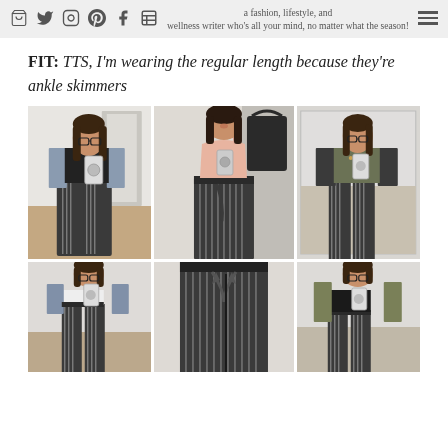a fashion, lifestyle, and wellness writer who's all your mind, no matter what the season!
FIT: TTS, I'm wearing the regular length because they're ankle skimmers
[Figure (photo): Collage of 6 photos showing a woman wearing striped wide-leg pants styled in different ways: with a denim jacket and black top, with a pink satin cami, with a dark blazer and embellished top, and in partial/cropped views.]